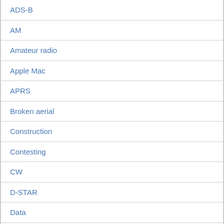ADS-B
AM
Amateur radio
Apple Mac
APRS
Broken aerial
Construction
Contesting
CW
D-STAR
Data
DMR
DXCC-17m-FT8
DXpedition
FM